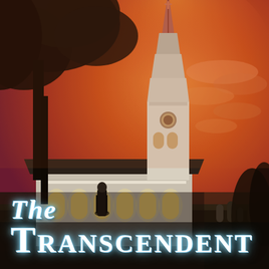[Figure (illustration): Book cover image showing a white church with a tall steeple under a dramatic orange-red sunset sky. Large dark trees frame the upper left. A robed figure stands near the church entrance. Gravestones visible in the lower right foreground.]
The Transcendent